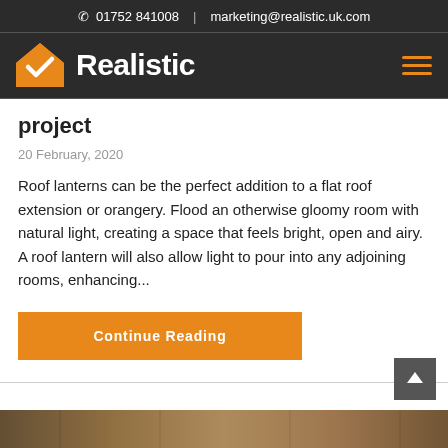01752 841008 | marketing@realistic.uk.com
[Figure (logo): Realistic logo with orange house icon and white bold text 'Realistic' on dark background, hamburger menu icon on right]
project
20 February, 2020
Roof lanterns can be the perfect addition to a flat roof extension or orangery. Flood an otherwise gloomy room with natural light, creating a space that feels bright, open and airy. A roof lantern will also allow light to pour into any adjoining rooms, enhancing...
Continue Reading
[Figure (photo): Partial view of a photo strip at the bottom of the page showing construction/roofing imagery]